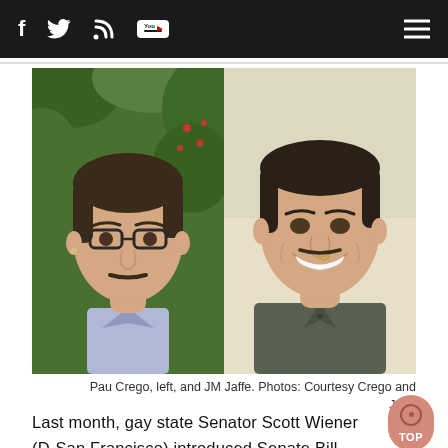Navigation bar with social icons (Facebook, Twitter, RSS, YouTube) and hamburger menu
[Figure (photo): Two side-by-side portrait photos: left photo shows Pau Crego, a person with glasses and a mustache wearing a light purple shirt, outdoors with green foliage background; right photo shows JM Jaffe, a person with a nose ring smiling, wearing a dark shirt against a light background.]
Pau Crego, left, and JM Jaffe. Photos: Courtesy Crego and Jaffe
Last month, gay state Senator Scott Wiener (D-San Francisco) introduced Senate Bill 923, the TGI Inclusive